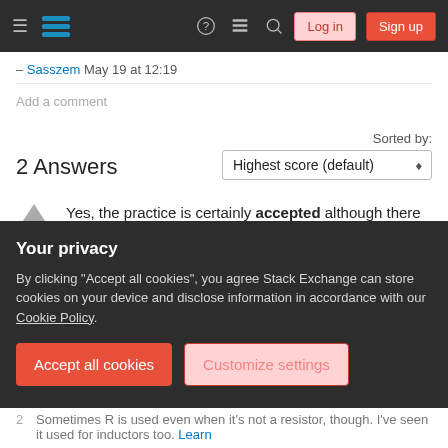Stack Exchange navigation bar with Log in and Sign up buttons
– Sasszem May 19 at 12:19
Add a comment
2 Answers
Sorted by: Highest score (default)
Yes, the practice is certainly accepted although there may not be a formal standard or requirement. You are interpreting the values correctly. Note that when no prefix is needed we use the quantity
Your privacy
By clicking "Accept all cookies", you agree Stack Exchange can store cookies on your device and disclose information in accordance with our Cookie Policy.
Accept all cookies
Customize settings
Sometimes R is used even when it's not a resistor, though. I've seen it used for inductors too.